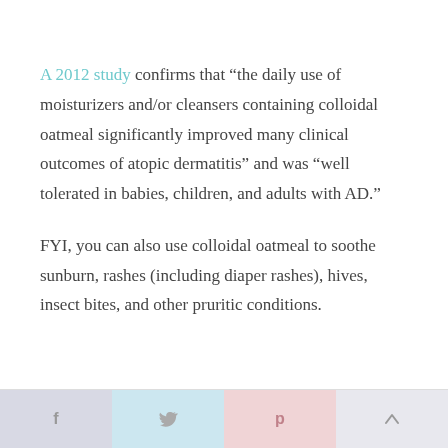A 2012 study confirms that “the daily use of moisturizers and/or cleansers containing colloidal oatmeal significantly improved many clinical outcomes of atopic dermatitis” and was “well tolerated in babies, children, and adults with AD.”
FYI, you can also use colloidal oatmeal to soothe sunburn, rashes (including diaper rashes), hives, insect bites, and other pruritic conditions.
f  •  𝕥  •  p  •  ↑